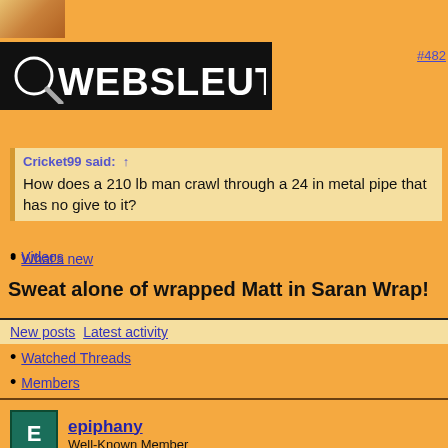[Figure (screenshot): Websleuths forum website banner with logo on dark background]
#482
Cricket99 said: ↑
How does a 210 lb man crawl through a 24 in metal pipe that has no give to it?
Sweat alone of wrapped Matt in Saran Wrap!
Videos
What's new
New posts Latest activity
Watched Threads
Members
epiphany
Well-Known Member